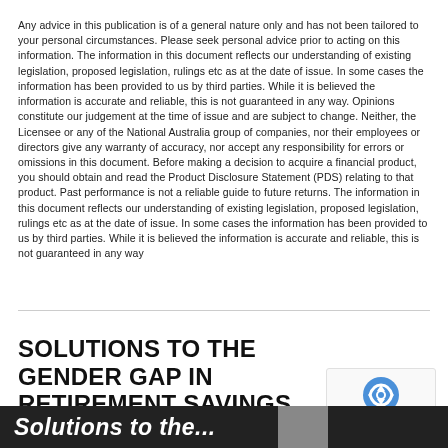Any advice in this publication is of a general nature only and has not been tailored to your personal circumstances. Please seek personal advice prior to acting on this information. The information in this document reflects our understanding of existing legislation, proposed legislation, rulings etc as at the date of issue. In some cases the information has been provided to us by third parties. While it is believed the information is accurate and reliable, this is not guaranteed in any way. Opinions constitute our judgement at the time of issue and are subject to change. Neither, the Licensee or any of the National Australia group of companies, nor their employees or directors give any warranty of accuracy, nor accept any responsibility for errors or omissions in this document. Before making a decision to acquire a financial product, you should obtain and read the Product Disclosure Statement (PDS) relating to that product. Past performance is not a reliable guide to future returns. The information in this document reflects our understanding of existing legislation, proposed legislation, rulings etc as at the date of issue. In some cases the information has been provided to us by third parties. While it is believed the information is accurate and reliable, this is not guaranteed in any way
SOLUTIONS TO THE GENDER GAP IN RETIREMENT SAVINGS
© ON NOVEMBER 23, 2017
[Figure (other): reCAPTCHA badge with Privacy and Terms links]
[Figure (photo): Bottom banner with italic white text 'Solutions to the...' and partial photo of a person]